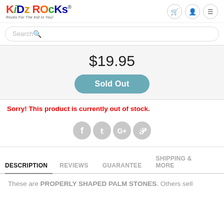[Figure (logo): Kidz Rocks logo - colorful stylized text with tagline 'Rocks For The Kid In You!']
$19.95
Sold Out
Sorry! This product is currently out of stock.
[Figure (infographic): Social media sharing icons: Facebook, Twitter, Google+, Pinterest - gray circular icons]
DESCRIPTION
REVIEWS
GUARANTEE
SHIPPING & MORE
These are PROPERLY SHAPED PALM STONES. Others sell